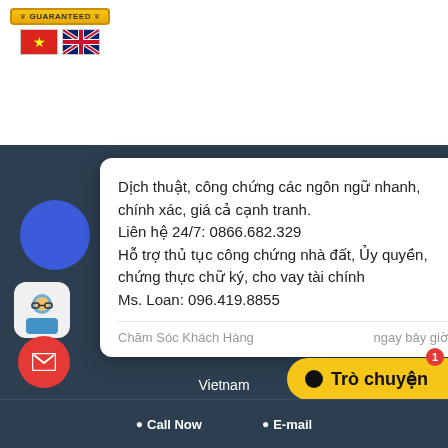[Figure (logo): Guaranteed badge with gold ribbon and flags (Vietnamese and UK flags)]
[Figure (screenshot): Dark background website UI with chat popup overlay showing Vietnamese translation/notarization service information]
Dịch thuật, công chứng các ngôn ngữ nhanh, chính xác, giá cả cạnh tranh.
Liên hệ 24/7: 0866.682.329
Hỗ trợ thủ tục công chứng nhà đất, Ủy quyền, chứng thực chữ ký, cho vay tài chính
Ms. Loan: 096.419.8855
Chăm Sóc Khách Hàng   ngay bây giờ
Vietnam
Trò chuyện
Call Now
E-mail